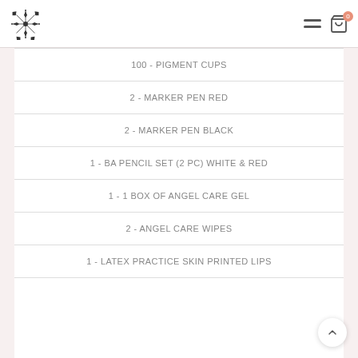Navigation header with logo, hamburger menu, and cart icon
100 - PIGMENT CUPS
2 - MARKER PEN RED
2 - MARKER PEN BLACK
1 - BA PENCIL SET (2 pc) WHITE & RED
1 - 1 BOX OF ANGEL CARE GEL
2 - ANGEL CARE WIPES
1 - LATEX PRACTICE SKIN PRINTED LIPS